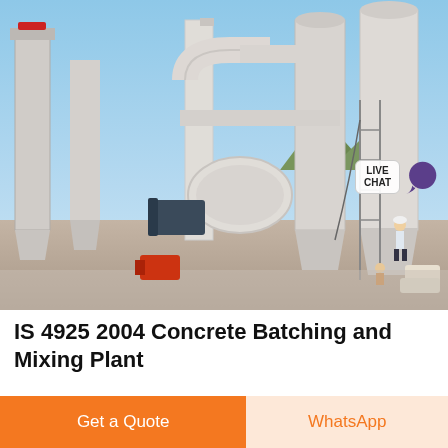[Figure (photo): Industrial concrete batching and mixing plant with large white silos, pipes, conveyor structures, and workers on site against a blue sky background.]
IS 4925 2004 Concrete Batching and Mixing Plant
2018-11-15 range of 20 to 100 m3 of mixed concrete
Get a Quote
WhatsApp